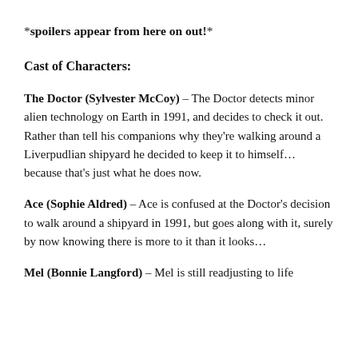*spoilers appear from here on out!*
Cast of Characters:
The Doctor (Sylvester McCoy) – The Doctor detects minor alien technology on Earth in 1991, and decides to check it out. Rather than tell his companions why they're walking around a Liverpudlian shipyard he decided to keep it to himself... because that's just what he does now.
Ace (Sophie Aldred) – Ace is confused at the Doctor's decision to walk around a shipyard in 1991, but goes along with it, surely by now knowing there is more to it than it looks...
Mel (Bonnie Langford) – Mel is still readjusting to life